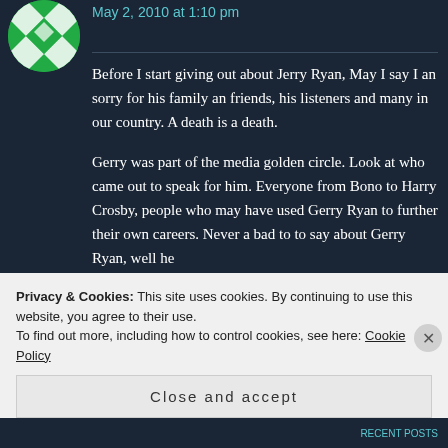[Figure (illustration): Green and white diamond pattern avatar/logo circle]
May 2, 2010 at 1:10 pm
Before I start giving out about Jerry Ryan, May I say I an sorry for his family an friends, his listeners and many in our country. A death is a death.

Gerry was part of the media golden circle. Look at who came out to speak for him. Everyone from Bono to Harry Crosby, people who may have used Gerry Ryan to further their own careers. Never a bad to to say about Gerry Ryan, well he
Privacy & Cookies: This site uses cookies. By continuing to use this website, you agree to their use.
To find out more, including how to control cookies, see here: Cookie Policy
Close and accept